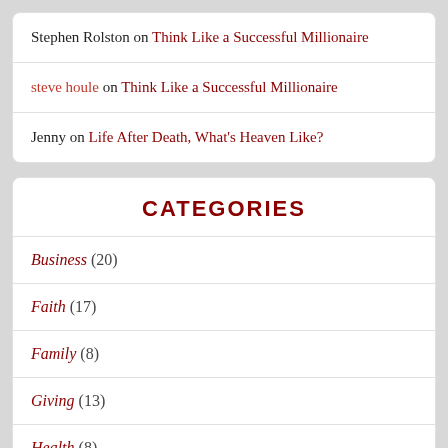Stephen Rolston on Think Like a Successful Millionaire
steve houle on Think Like a Successful Millionaire
Jenny on Life After Death, What's Heaven Like?
CATEGORIES
Business (20)
Faith (17)
Family (8)
Giving (13)
Health (8)